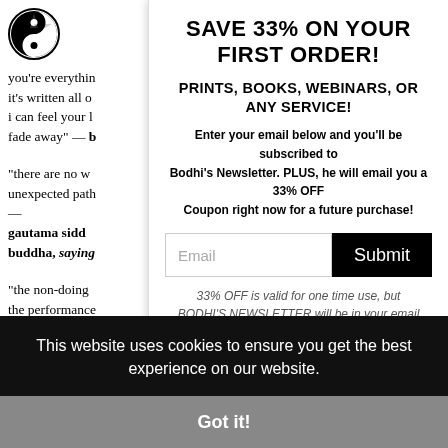[Figure (logo): Circular logo with yin-yang camera aperture design in black and white]
you're everything
it's written all o
i can feel your l
fade away" — b
"there are no w
unexpected path
—
gautama sidd
buddha, saying
"the non-doing
the performance
the cleansing of
this is the teach
awakened." —
gautama sidd
buddha, saying
SAVE 33% ON YOUR FIRST ORDER!
PRINTS, BOOKS, WEBINARS, OR ANY SERVICE!
Enter your email below and you'll be subscribed to Bodhi's Newsletter. PLUS, he will email you a 33% OFF Coupon right now for a future purchase!
33% OFF is valid for one time use, but BODHI'S NEWSLETTER will be in your email inbox each Friday with weekly specials!
This website uses cookies to ensure you get the best experience on our website.
Got it!